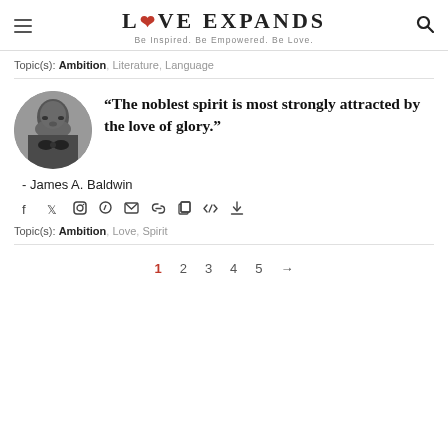LOVE EXPANDS — Be Inspired. Be Empowered. Be Love.
Topic(s): Ambition, Literature, Language
[Figure (photo): Black and white circular portrait photo of James A. Baldwin]
“The noblest spirit is most strongly attracted by the love of glory.”
- James A. Baldwin
Social share icons: facebook, twitter, instagram, pinterest, email, link, copy, embed, download
Topic(s): Ambition, Love, Spirit
Pagination: 1 2 3 4 5 →